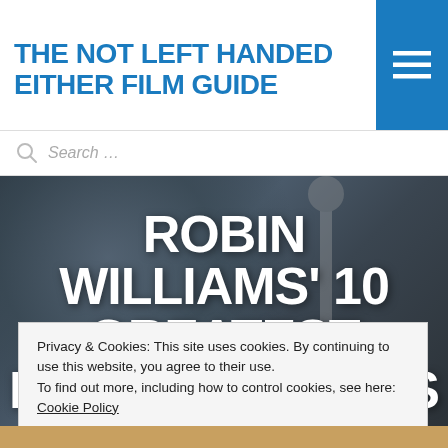THE NOT LEFT HANDED EITHER FILM GUIDE
Search ...
[Figure (photo): Dark cinematic still of a man with headphones, used as hero background image for article about Robin Williams]
ROBIN WILLIAMS' 10 GREATEST PERFORMANCES
Privacy & Cookies: This site uses cookies. By continuing to use this website, you agree to their use.
To find out more, including how to control cookies, see here: Cookie Policy
Close and accept